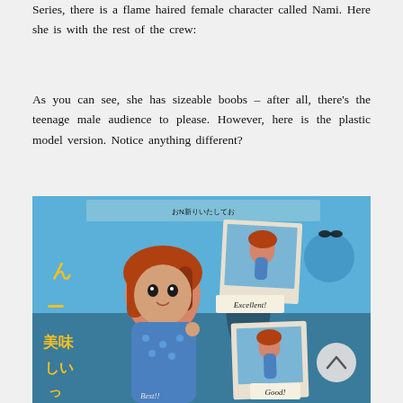Series, there is a flame haired female character called Nami. Here she is with the rest of the crew:
As you can see, she has sizeable boobs – after all, there's the teenage male audience to please. However, here is the plastic model version. Notice anything different?
[Figure (photo): Photo of a Nami anime figure box/packaging showing the character in a blue swimsuit with Japanese text, polaroid-style photos on the box with labels 'Excellent!' and 'Good!', and a scroll-to-top button overlay.]